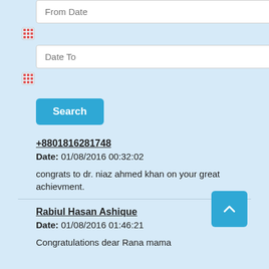[Figure (screenshot): From Date input field (placeholder text)]
[Figure (screenshot): Calendar icon (red grid icon)]
[Figure (screenshot): Date To input field (placeholder text)]
[Figure (screenshot): Calendar icon (red grid icon)]
[Figure (screenshot): Search button (blue)]
+8801816281748
Date: 01/08/2016 00:32:02
congrats to dr. niaz ahmed khan on your great achievment.
Rabiul Hasan Ashique
Date: 01/08/2016 01:46:21
Congratulations dear Rana mama